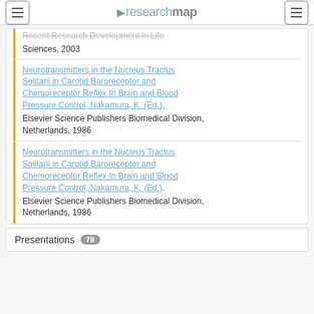researchmap
Recent Research Development in Life Sciences, 2003
Neurotransmitters in the Nucleus Tractus Solitarii in Carotid Baroreceptor and Chemoreceptor Reflex In Brain and Blood Pressure Control, Nakamura, K. (Ed.), Elsevier Science Publishers Biomedical Division, Netherlands, 1986
Neurotransmitters in the Nucleus Tractus Solitarii in Carotid Baroreceptor and Chemoreceptor Reflex In Brain and Blood Pressure Control, Nakamura, K. (Ed.), Elsevier Science Publishers Biomedical Division, Netherlands, 1986
Presentations 78